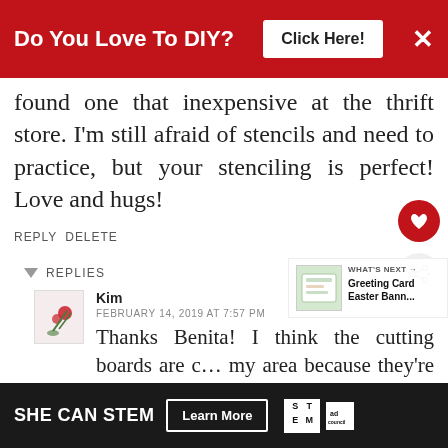Do You Love To DIY? Click Here!
found one that inexpensive at the thrift store. I'm still afraid of stencils and need to practice, but your stenciling is perfect! Love and hugs!
REPLY DELETE
REPLIES
Kim
FEBRUARY 14, 2019 AT 7:57 PM
Thanks Benita! I think the cutting boards are c... my area because they're not old, and the thrift stores
SHE CAN STEM Learn More